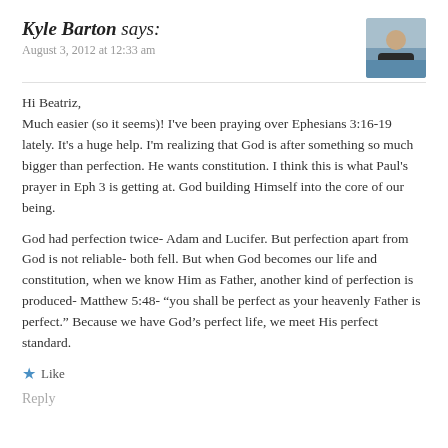Kyle Barton says:
August 3, 2012 at 12:33 am
Hi Beatriz,
Much easier (so it seems)! I’ve been praying over Ephesians 3:16-19 lately. It’s a huge help. I’m realizing that God is after something so much bigger than perfection. He wants constitution. I think this is what Paul’s prayer in Eph 3 is getting at. God building Himself into the core of our being.
God had perfection twice- Adam and Lucifer. But perfection apart from God is not reliable- both fell. But when God becomes our life and constitution, when we know Him as Father, another kind of perfection is produced- Matthew 5:48- “you shall be perfect as your heavenly Father is perfect.” Because we have God’s perfect life, we meet His perfect standard.
★ Like
Reply